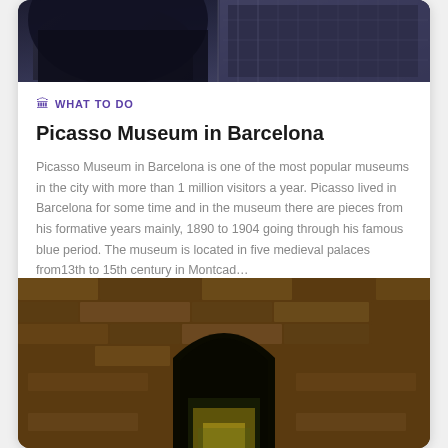[Figure (photo): Top portion of a dark architectural photo showing what appears to be a curved/arch structure on the left and a building facade with windows/grating on the right, dark tones of blue-grey and black]
🏛 WHAT TO DO
Picasso Museum in Barcelona
Picasso Museum in Barcelona is one of the most popular museums in the city with more than 1 million visitors a year. Picasso lived in Barcelona for some time and in the museum there are pieces from his formative years mainly, 1890 to 1904 going through his famous blue period. The museum is located in five medieval palaces from13th to 15th century in Montcad…
[Figure (photo): Bottom portion showing a stone archway/doorway in ancient medieval stone walls with warm amber/brown tones, with a greenish-yellow lit interior visible through the arch opening]